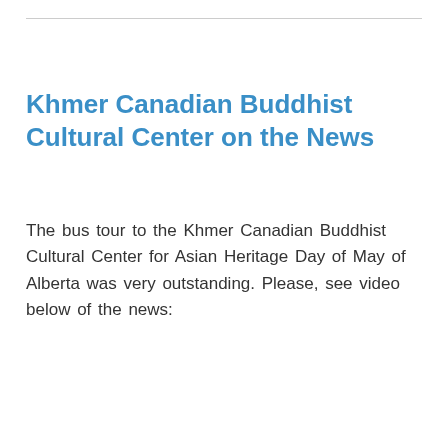Khmer Canadian Buddhist Cultural Center on the News
The bus tour to the Khmer Canadian Buddhist Cultural Center for Asian Heritage Day of May of Alberta was very outstanding. Please, see video below of the news: